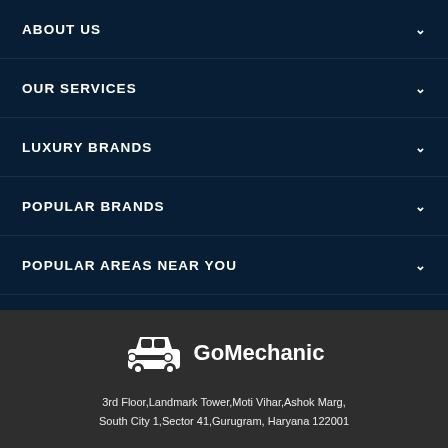ABOUT US
OUR SERVICES
LUXURY BRANDS
POPULAR BRANDS
POPULAR AREAS NEAR YOU
[Figure (logo): GoMechanic logo with car icon and wrench]
3rd Floor,Landmark Tower,Moti Vihar,Ashok Marg, South City 1,Sector 41,Gurugram, Haryana 122001